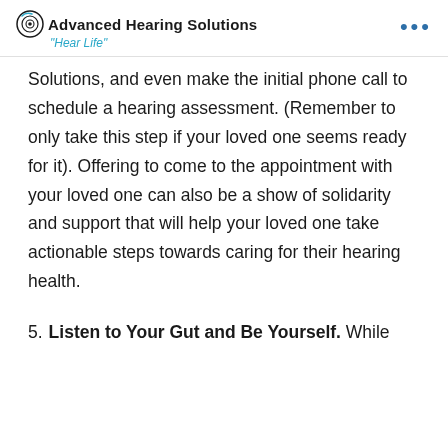Advanced Hearing Solutions "Hear Life"
Solutions, and even make the initial phone call to schedule a hearing assessment. (Remember to only take this step if your loved one seems ready for it). Offering to come to the appointment with your loved one can also be a show of solidarity and support that will help your loved one take actionable steps towards caring for their hearing health.
5. Listen to Your Gut and Be Yourself. While